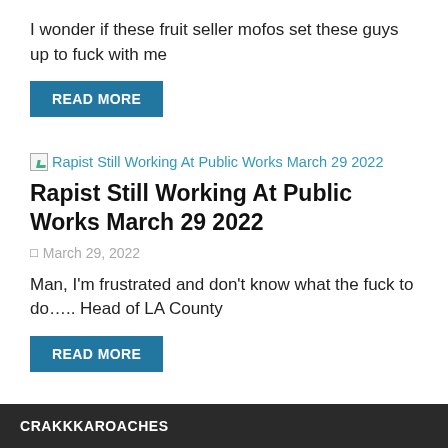I wonder if these fruit seller mofos set these guys up to fuck with me
READ MORE
[Figure (screenshot): Broken image placeholder link: Rapist Still Working At Public Works March 29 2022]
Rapist Still Working At Public Works March 29 2022
March 29, 2022
Man, I'm frustrated and don't know what the fuck to do….. Head of LA County
READ MORE
CRAKKKAROACHES